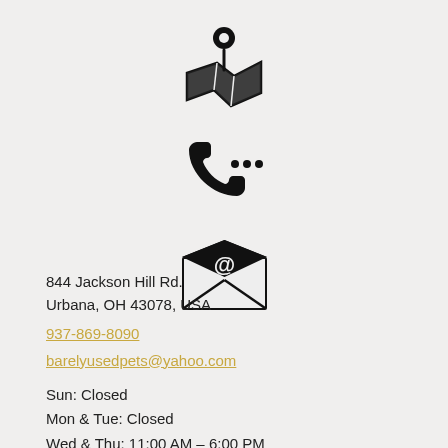[Figure (illustration): Map pin / location icon — black map with location pin on top]
[Figure (illustration): Phone icon with three dots indicating a call in progress]
[Figure (illustration): Open envelope with @ symbol inside — email icon]
844 Jackson Hill Rd.
Urbana, OH 43078, USA
937-869-8090
barelyusedpets@yahoo.com
Sun: Closed
Mon & Tue: Closed
Wed & Thu: 11:00 AM – 6:00 PM
Fri: 11:00 AM – 5:00 PM